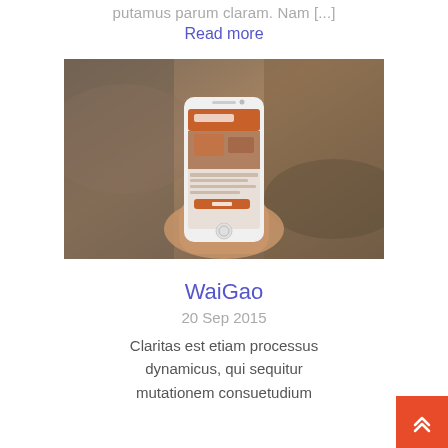putamus parum claram. Nam [...]
Read more
[Figure (photo): A hand holding a white smartphone displaying a mobile app with an orange/brown themed UI, against a blurred rocky/wooden background.]
WaiGao
20 Sep 2015
Claritas est etiam processus dynamicus, qui sequitur mutationem consuetudium